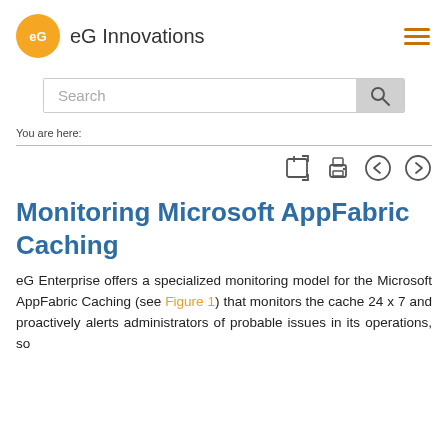eG Innovations
[Figure (logo): eG Innovations orange circular logo with stylized 'eG' text, followed by 'eG Innovations' company name, and a hamburger menu icon on the right]
Search
You are here:
Monitoring Microsoft AppFabric Caching
eG Enterprise offers a specialized monitoring model for the Microsoft AppFabric Caching (see Figure 1) that monitors the cache 24 x 7 and proactively alerts administrators of probable issues in its operations, so